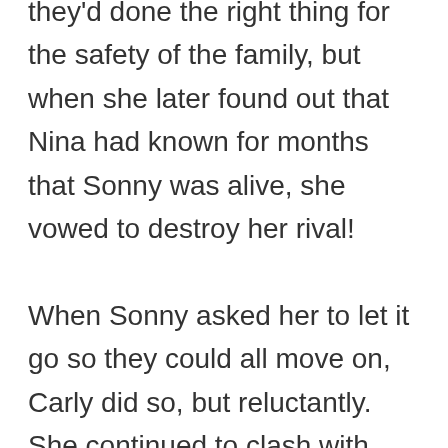they'd done the right thing for the safety of the family, but when she later found out that Nina had known for months that Sonny was alive, she vowed to destroy her rival! When Sonny asked her to let it go so they could all move on, Carly did so, but reluctantly. She continued to clash with Nina, who she always seemed to be running into around town. Then, Carly was heartbroken when Jason was presumed dead again. She was looking forward to Nina going to jail for keeping Sonny from his